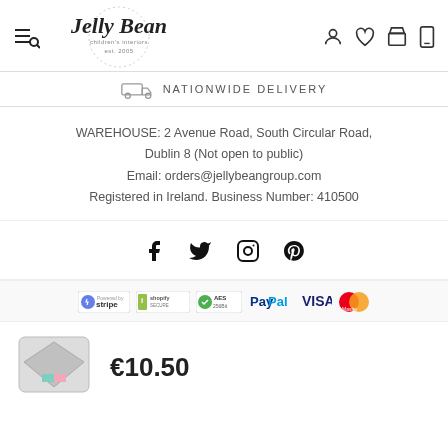[Figure (logo): Jelly Bean children's interiors est. 2005 logo with circular dotted border and cursive script]
NATIONWIDE DELIVERY
WAREHOUSE: 2 Avenue Road, South Circular Road, Dublin 8 (Not open to public)
Email: orders@jellybeangroup.com
Registered in Ireland. Business Number: 410500
[Figure (infographic): Social media icons: Facebook, Twitter, Instagram, Pinterest]
[Figure (infographic): Payment badges: Stripe, Shopify Secure, AES 256Bit, PayPal, VISA, MasterCard]
€10.50